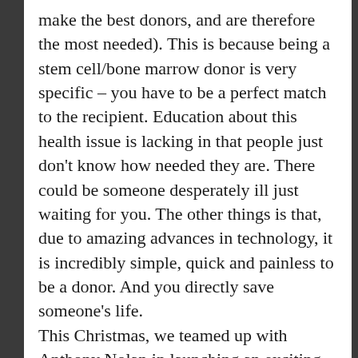make the best donors, and are therefore the most needed). This is because being a stem cell/bone marrow donor is very specific – you have to be a perfect match to the recipient. Education about this health issue is lacking in that people just don't know how needed they are. There could be someone desperately ill just waiting for you. The other things is that, due to amazing advances in technology, it is incredibly simple, quick and painless to be a donor. And you directly save someone's life. This Christmas, we teamed up with Anthony Nolan in launching an exciting video campaign to continue Millie's work, by encouraging more young people to join the register as potential life-saving donors. There are many ways that people can support Anthony Nolan's fantastic work. In particular, if you know anyone who is aged 16–30 please tell them about this campaign. Your support is greatly